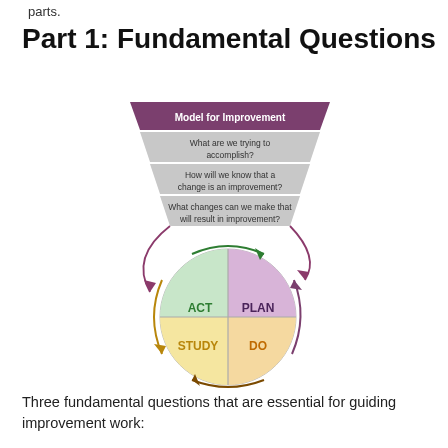parts.
Part 1: Fundamental Questions
[Figure (infographic): Model for Improvement diagram showing three stacked trapezoid boxes labeled: 'What are we trying to accomplish?', 'How will we know that a change is an improvement?', 'What changes can we make that will result in improvement?' Above them is a purple header 'Model for Improvement'. Below is a circle divided into four quadrants: ACT (green, top-left), PLAN (purple, top-right), DO (orange, bottom-right), STUDY (yellow, bottom-left). Curved arrows connect the questions to the PLAN quadrant and circle the quadrants clockwise.]
Three fundamental questions that are essential for guiding improvement work: